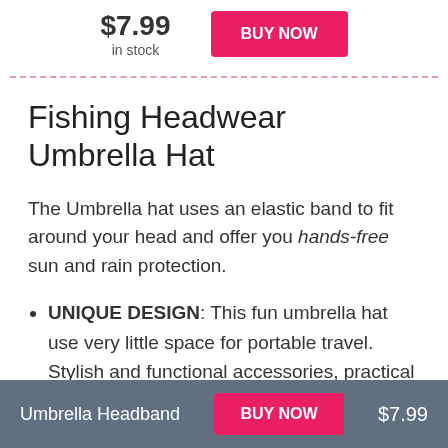$7.99
in stock
BUY NOW
Fishing Headwear Umbrella Hat
The Umbrella hat uses an elastic band to fit around your head and offer you hands-free sun and rain protection.
UNIQUE DESIGN: This fun umbrella hat use very little space for portable travel. Stylish and functional accessories, practical design keeps you dry while keeping your hands free. If you don't know whether the hat umbrella is suitable for you, please buy it according to the size we provide.
Umbrella Headband  BUY NOW  $7.99